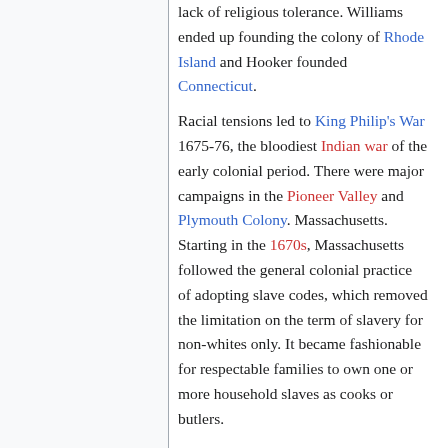lack of religious tolerance. Williams ended up founding the colony of Rhode Island and Hooker founded Connecticut.
Racial tensions led to King Philip's War 1675-76, the bloodiest Indian war of the early colonial period. There were major campaigns in the Pioneer Valley and Plymouth Colony. Massachusetts. Starting in the 1670s, Massachusetts followed the general colonial practice of adopting slave codes, which removed the limitation on the term of slavery for non-whites only. It became fashionable for respectable families to own one or more household slaves as cooks or butlers.
Dominion of New England 1686-1692